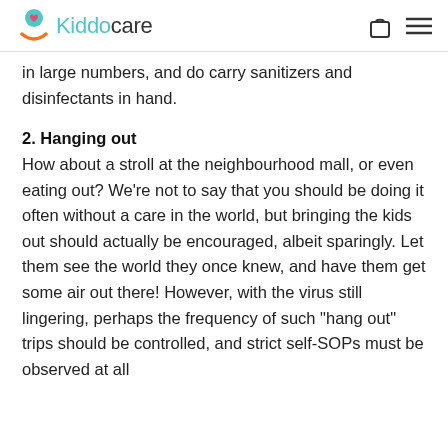Kiddocare
in large numbers, and do carry sanitizers and disinfectants in hand.
2. Hanging out
How about a stroll at the neighbourhood mall, or even eating out? We’re not to say that you should be doing it often without a care in the world, but bringing the kids out should actually be encouraged, albeit sparingly. Let them see the world they once knew, and have them get some air out there! However, with the virus still lingering, perhaps the frequency of such “hang out” trips should be controlled, and strict self-SOPs must be observed at all